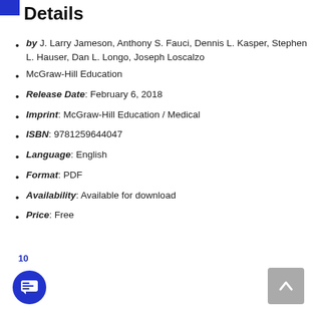Details
by J. Larry Jameson, Anthony S. Fauci, Dennis L. Kasper, Stephen L. Hauser, Dan L. Longo, Joseph Loscalzo
McGraw-Hill Education
Release Date: February 6, 2018
Imprint: McGraw-Hill Education / Medical
ISBN: 9781259644047
Language: English
Format: PDF
Availability: Available for download
Price: Free
10